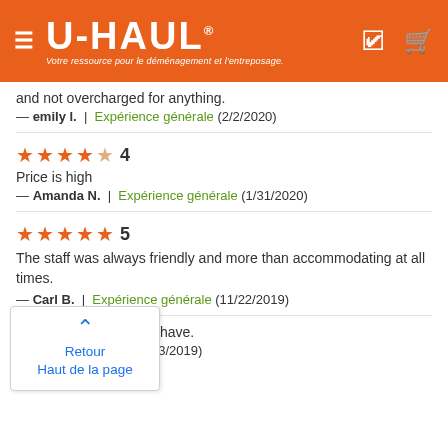U-HAUL — Votre ressource pour le déménagement et l'entreposage.
and not overcharged for anything.
— emily l. | Expérience générale (2/2/2020)
★★★★☆ 4
Price is high
— Amanda N. | Expérience générale (1/31/2020)
★★★★★ 5
The staff was always friendly and more than accommodating at all times.
— Carl B. | Expérience générale (11/22/2019)
Retour
Haut de la page
For good Services you have.
— | ience générale (10/3/2019)